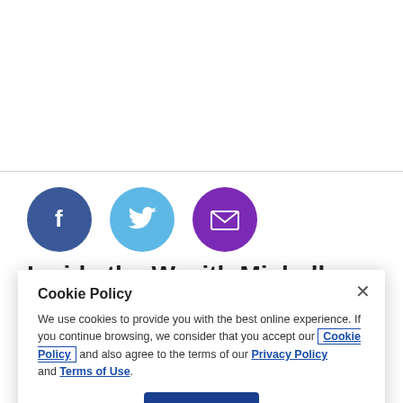[Figure (screenshot): Social sharing buttons: Facebook (dark blue circle with 'f'), Twitter (light blue circle with bird icon), Email (purple circle with envelope icon)]
Inside the W with Michelle
Cookie Policy
We use cookies to provide you with the best online experience. If you continue browsing, we consider that you accept our Cookie Policy and also agree to the terms of our Privacy Policy and Terms of Use.
I Accept